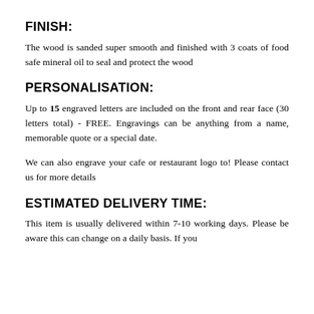FINISH:
The wood is sanded super smooth and finished with 3 coats of food safe mineral oil to seal and protect the wood
PERSONALISATION:
Up to 15 engraved letters are included on the front and rear face (30 letters total) - FREE. Engravings can be anything from a name, memorable quote or a special date.
We can also engrave your cafe or restaurant logo to! Please contact us for more details
ESTIMATED DELIVERY TIME:
This item is usually delivered within 7-10 working days. Please be aware this can change on a daily basis. If you